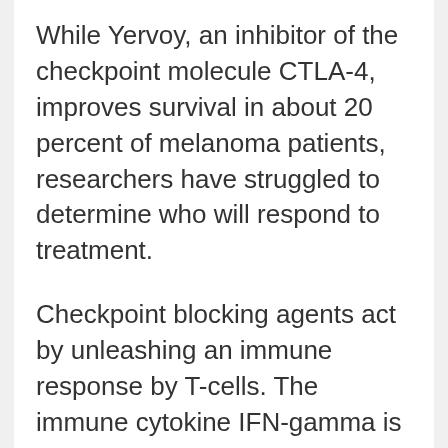While Yervoy, an inhibitor of the checkpoint molecule CTLA-4, improves survival in about 20 percent of melanoma patients, researchers have struggled to determine who will respond to treatment.
Checkpoint blocking agents act by unleashing an immune response by T-cells. The immune cytokine IFN-gamma is key to initiating such a response, but it can also directly damage tumor cells.
Tumor cells have receptors for IFN-gamma on their surface, and as the cytokine binds to its receptor, it triggers